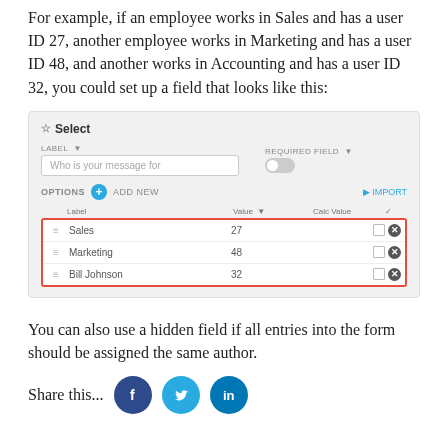For example, if an employee works in Sales and has a user ID 27, another employee works in Marketing and has a user ID 48, and another works in Accounting and has a user ID 32, you could set up a field that looks like this:
[Figure (screenshot): A UI screenshot of a 'Select' field builder showing options: Sales=27, Marketing=48, Bill Johnson=32, with a red border highlighting the three option rows.]
You can also use a hidden field if all entries into the form should be assigned the same author.
Share this... [Facebook icon] [Twitter icon] [LinkedIn icon]